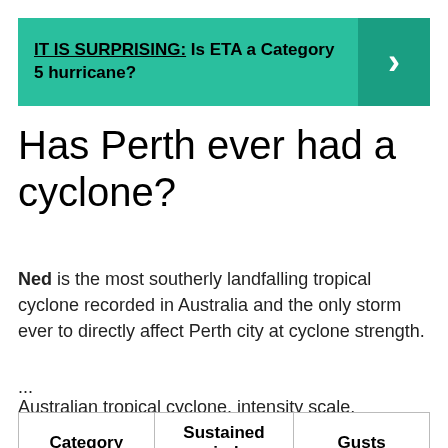IT IS SURPRISING: Is ETA a Category 5 hurricane?
Has Perth ever had a cyclone?
Ned is the most southerly landfalling tropical cyclone recorded in Australia and the only storm ever to directly affect Perth city at cyclone strength.
...
Australian tropical cyclone. intensity scale.
| Category | Sustained winds | Gusts |
| --- | --- | --- |